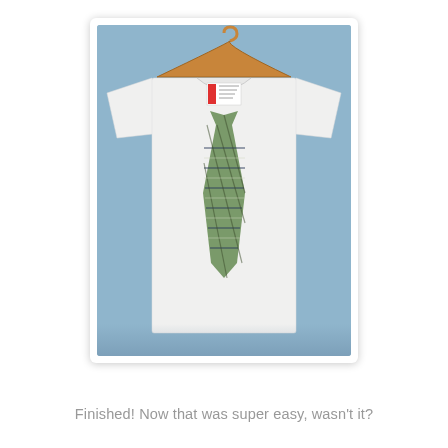[Figure (photo): A white children's t-shirt on a wooden hanger against a blue background. The shirt has a plaid fabric tie appliqué sewn onto the front in green and navy plaid pattern.]
Finished! Now that was super easy, wasn't it?